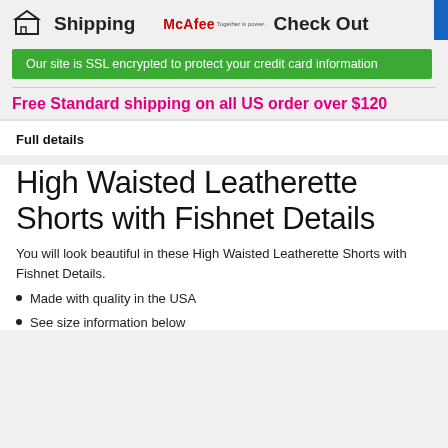[Figure (infographic): Shipping icon (box) with text 'Shipping' and McAfee logo with 'Check Out' text]
Our site is SSL encrypted to protect your credit card information
Free Standard shipping on all US order over $120
Full details
High Waisted Leatherette Shorts with Fishnet Details
You will look beautiful in these High Waisted Leatherette Shorts with Fishnet Details.
Made with quality in the USA
See size information below